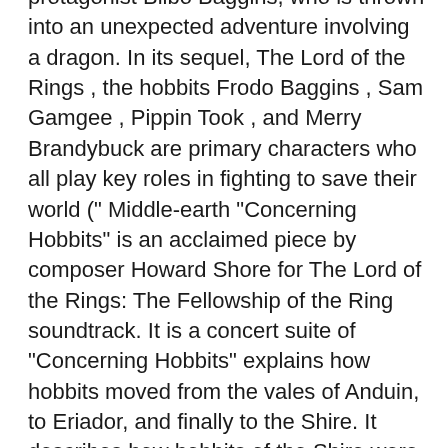protagonist Bilbo Baggins, who is thrown into an unexpected adventure involving a dragon. In its sequel, The Lord of the Rings , the hobbits Frodo Baggins , Sam Gamgee , Pippin Took , and Merry Brandybuck are primary characters who all play key roles in fighting to save their world (" Middle-earth "Concerning Hobbits" is an acclaimed piece by composer Howard Shore for The Lord of the Rings: The Fellowship of the Ring soundtrack. It is a concert suite of  "Concerning Hobbits" explains how hobbits moved from the vales of Anduin, to Eriador, and finally to the Shire. It describes how hobbits of the Shire were caught   [He dips his pen and resumes his writing.] Bilbo (voiceover): "Concerning Hobbits ." [Images of the Shire and its inhabitants appear as Bilbo speaks.